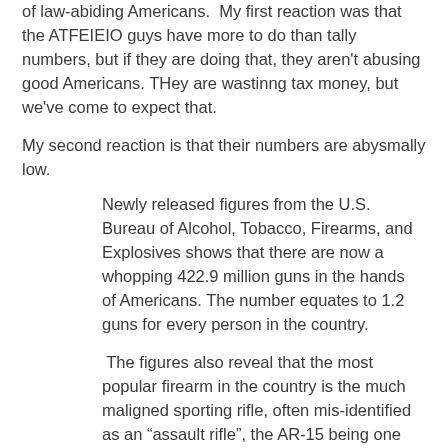of law-abiding Americans.  My first reaction was that the ATFEIEIO guys have more to do than tally numbers, but if they are doing that, they aren't abusing good Americans. THey are wastinng tax money, but we've come to expect that.
My second reaction is that their numbers are abysmally low.
Newly released figures from the U.S. Bureau of Alcohol, Tobacco, Firearms, and Explosives shows that there are now a whopping 422.9 million guns in the hands of Americans. The number equates to 1.2 guns for every person in the country.
The figures also reveal that the most popular firearm in the country is the much maligned sporting rifle, often mis-identified as an “assault rifle”, the AR-15 being one of the more popular models.
They also estimate that 8.1 billion rounds of ammo were produced last year.  I have no idea about that, but I bet that